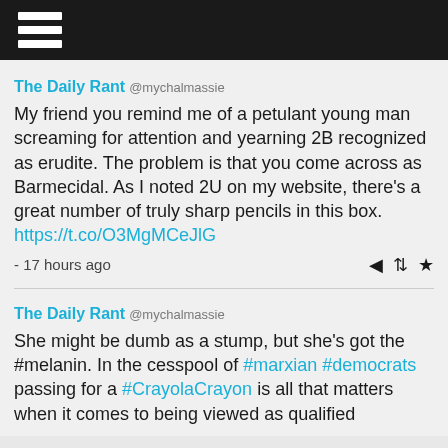hamburger menu icon
The Daily Rant @mychalmassie
My friend you remind me of a petulant young man screaming for attention and yearning 2B recognized as erudite. The problem is that you come across as Barmecidal. As I noted 2U on my website, there's a great number of truly sharp pencils in this box. https://t.co/O3MgMCeJlG
- 17 hours ago
The Daily Rant @mychalmassie
She might be dumb as a stump, but she's got the #melanin. In the cesspool of #marxian #democrats passing for a #CrayolaCrayon is all that matters when it comes to being viewed as qualified